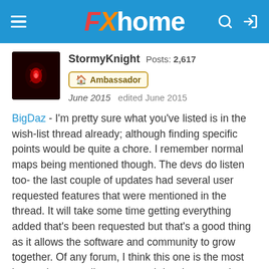FXhome
StormyKnight  Posts: 2,617  Ambassador
June 2015  edited June 2015
BigDaz - I'm pretty sure what you've listed is in the wish-list thread already; although finding specific points would be quite a chore. I remember normal maps being mentioned though. The devs do listen too- the last couple of updates had several user requested features that were mentioned in the thread. It will take some time getting everything added that's been requested but that's a good thing as it allows the software and community to grow together. Of any forum, I think this one is the most interactive regarding users and developers and true to their word, FXhome is keeping the price extremely reasonable for the amount of power you get with HF.....any version so far.
hhttp://hitfilm.com/forum/discussion/4432/the-wishlist-